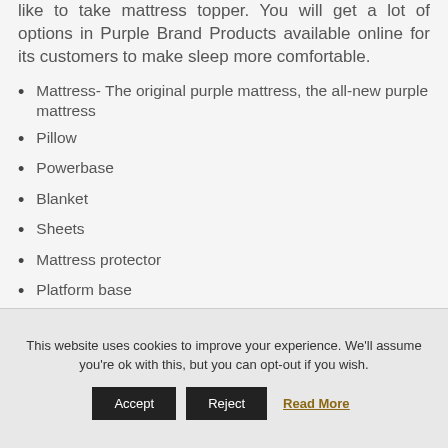like to take mattress topper. You will get a lot of options in Purple Brand Products available online for its customers to make sleep more comfortable.
Mattress- The original purple mattress, the all-new purple mattress
Pillow
Powerbase
Blanket
Sheets
Mattress protector
Platform base
This website uses cookies to improve your experience. We'll assume you're ok with this, but you can opt-out if you wish.